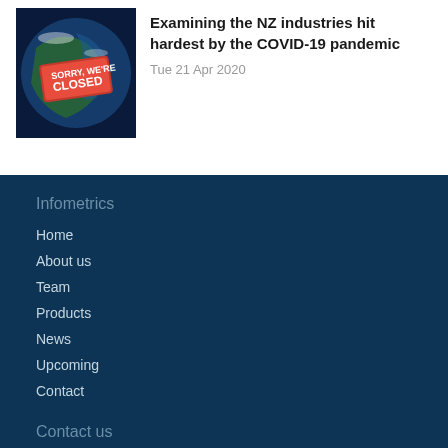[Figure (photo): Thumbnail image of New Zealand map from space with a red 'Sorry, We're CLOSED' sign overlaid]
Examining the NZ industries hit hardest by the COVID-19 pandemic
Tue 21 Apr 2020
Infometrics
Home
About us
Team
Products
News
Upcoming
Contact
Contact us
Level 20
Plimmer Towers